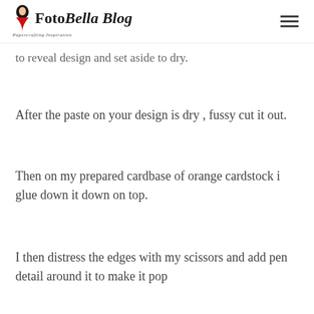FotoBella Blog — Papercrafting Inspiration
to reveal design and set aside to dry.
After the paste on your design is dry , fussy cut it out.
Then on my prepared cardbase of orange cardstock i glue down it down on top.
I then distress the edges with my scissors and add pen detail around it to make it pop